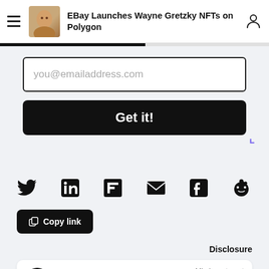EBay Launches Wayne Gretzky NFTs on Polygon
you@emailaddress.com
Get it!
[Figure (other): Social sharing icons row: Twitter, LinkedIn, Flipboard, Email, Facebook, Reddit]
Copy link
Disclosure
Masterworks  Min investment  $10K